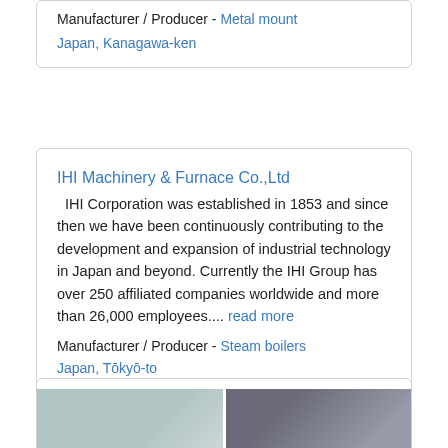Manufacturer / Producer - Metal mount
Japan, Kanagawa-ken
IHI Machinery & Furnace Co.,Ltd
IHI Corporation was established in 1853 and since then we have been continuously contributing to the development and expansion of industrial technology in Japan and beyond. Currently the IHI Group has over 250 affiliated companies worldwide and more than 26,000 employees.... read more
Manufacturer / Producer - Steam boilers
Japan, Tōkyō-to
[Figure (photo): Two side-by-side product images showing industrial components or machinery parts.]